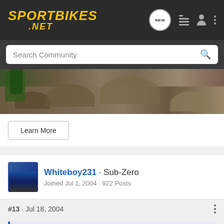SPORTBIKES .NET
Search Community
[Figure (photo): Outdoor rocky terrain photo strip with stones and foliage]
Learn More
Whiteboy231 · Sub-Zero
Joined Jul 1, 2004 · 922 Posts
#13 · Jul 18, 2004
Krazy Hawaiian said:
Oh hell ya, yje r-1 is a whimps bike. I would sujesst you skip it and move directly to a Bus hopefully one with a turbo or bawssssss that